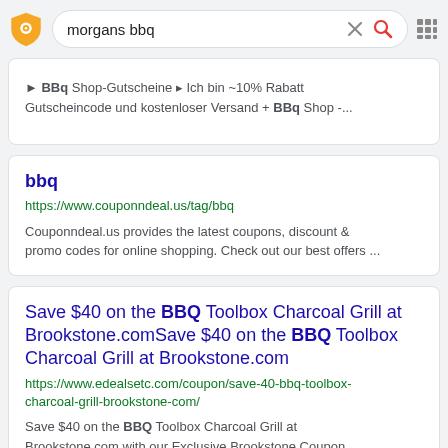[Figure (screenshot): Search bar with shield/lock icon on left, search query 'morgans bbq', X clear button, red magnifier icon, and grid icon on right]
BBQ Shop-Gutscheine ▸ Ich bin ~10% Rabatt Gutscheincode und kostenloser Versand + BBQ Shop -...
bbq
https://www.couponndeal.us/tag/bbq
Couponndeal.us provides the latest coupons, discount & promo codes for online shopping. Check out our best offers ...
Save $40 on the BBQ Toolbox Charcoal Grill at Brookstone.comSave $40 on the BBQ Toolbox Charcoal Grill at Brookstone.com
https://www.edealsetc.com/coupon/save-40-bbq-toolbox-charcoal-grill-brookstone-com/
Save $40 on the BBQ Toolbox Charcoal Grill at Brookstone.com with our Exclusive Brookstone Coupon